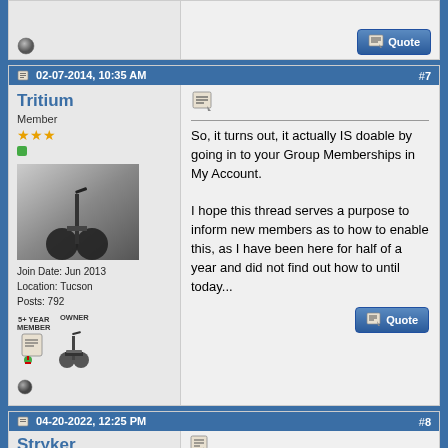[Figure (screenshot): Bottom of a forum post showing a status dot and Quote button]
02-07-2014, 10:35 AM  #7
Tritium
Member
Join Date: Jun 2013
Location: Tucson
Posts: 792
[Figure (photo): Black and white photo of a Segway lying on ground]
[Figure (infographic): 5+ Year Member badge and Owner badge with segway icons]
So, it turns out, it actually IS doable by going in to your Group Memberships in My Account.

I hope this thread serves a purpose to inform new members as to how to enable this, as I have been here for half of a year and did not find out how to until today...
04-20-2022, 12:25 PM  #8
Stryker